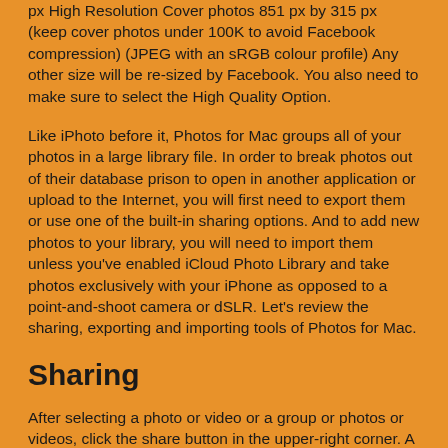px High Resolution Cover photos 851 px by 315 px (keep cover photos under 100K to avoid Facebook compression) (JPEG with an sRGB colour profile) Any other size will be re-sized by Facebook. You also need to make sure to select the High Quality Option.
Like iPhoto before it, Photos for Mac groups all of your photos in a large library file. In order to break photos out of their database prison to open in another application or upload to the Internet, you will first need to export them or use one of the built-in sharing options. And to add new photos to your library, you will need to import them unless you've enabled iCloud Photo Library and take photos exclusively with your iPhone as opposed to a point-and-shoot camera or dSLR. Let's review the sharing, exporting and importing tools of Photos for Mac.
Sharing
After selecting a photo or video or a group or photos or videos, click the share button in the upper-right corner. A drop-down menu lets you share via iCloud Photo Sharing, Facebook, Flickr, Twitter and Messages. Vimeo shows up as an option if a